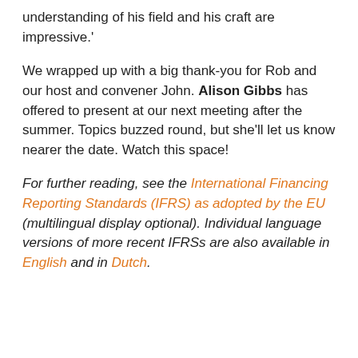understanding of his field and his craft are impressive.'
We wrapped up with a big thank-you for Rob and our host and convener John. Alison Gibbs has offered to present at our next meeting after the summer. Topics buzzed round, but she'll let us know nearer the date. Watch this space!
For further reading, see the International Financing Reporting Standards (IFRS) as adopted by the EU (multilingual display optional). Individual language versions of more recent IFRSs are also available in English and in Dutch.